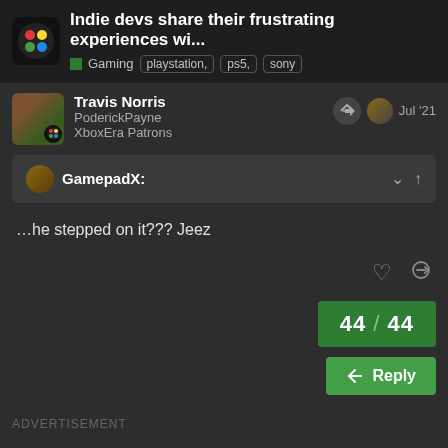Indie devs share their frustrating experiences wi...
Gaming  playstation,  ps5,  sony
Travis Norris
PoderickPayne
XboxEra Patrons
Jul '21
GamepadX:
…he stepped on it??? Jeez
44 / 44
Reply
ADVERTISEMENT